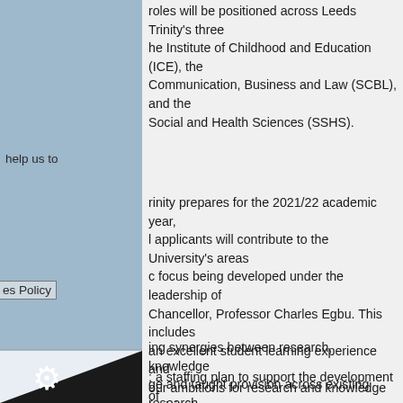roles will be positioned across Leeds Trinity's three the Institute of Childhood and Education (ICE), the Communication, Business and Law (SCBL), and the Social and Health Sciences (SSHS).
help us to
es Policy
rinity prepares for the 2021/22 academic year, applicants will contribute to the University's areas c focus being developed under the leadership of nancellor, Professor Charles Egbu. This includes an excellent student learning experience and our ambitions for research and knowledge activity by:
ing synergies between research, knowledge ge and taught provision across existing research
; a staffing plan to support the development of staff at all levels, as well as new appointments, to the strategy
ng full Research Degree Awarding Powers (RDAP)